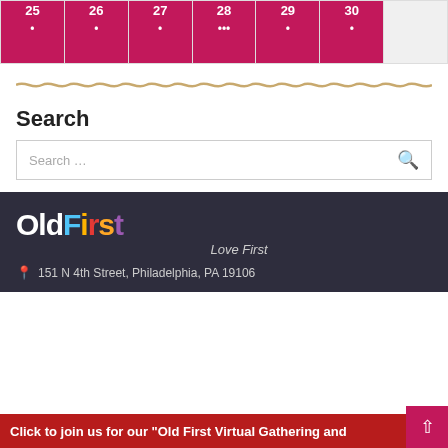| 25 | 26 | 27 | 28 | 29 | 30 |  |
| --- | --- | --- | --- | --- | --- | --- |
| • | • | • | ••• | • | • |  |
Search
Search....
[Figure (logo): OldFirst Love First logo with colorful letters on dark background]
151 N 4th Street, Philadelphia, PA 19106
Click to join us for our "Old First Virtual Gathering and